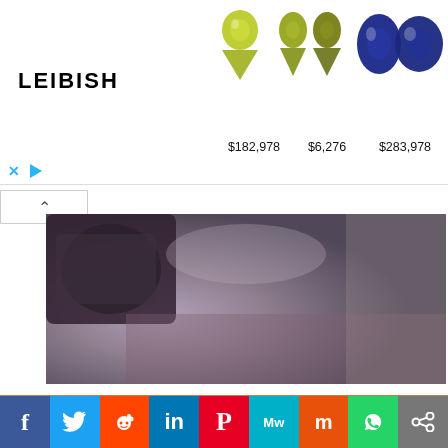[Figure (screenshot): Leibish jewelry ad banner showing gemstones with prices: $182,978; $6,276; $283,978; $6,650; $32,163]
[Figure (photo): Close-up photo of jewelry crafting tools on a workbench, partial view at top]
[Figure (photo): Close-up photo of jewelry making tools including drill bits and chain on a wooden workbench]
[Figure (infographic): Social media sharing bar with Facebook, Twitter, Reddit, LinkedIn, Pinterest, MeWe, Mix, WhatsApp, and share buttons]